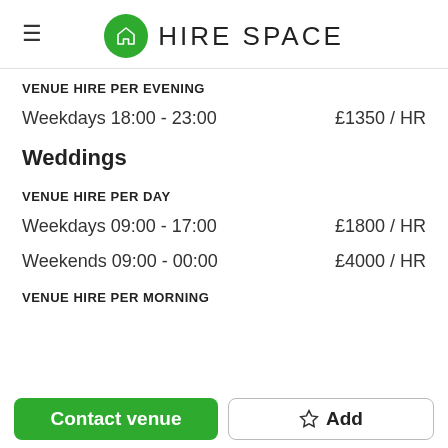HIRE SPACE
VENUE HIRE PER EVENING
Weekdays 18:00 - 23:00    £1350 / HR
Weddings
VENUE HIRE PER DAY
Weekdays 09:00 - 17:00    £1800 / HR
Weekends 09:00 - 00:00    £4000 / HR
VENUE HIRE PER MORNING
Contact venue
Add